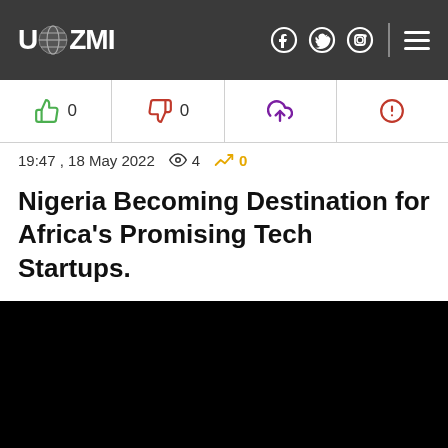UAZMI
👍 0  👎 0  ↑  ⊙
19:47 , 18 May 2022  👁 4  📈 0
Nigeria Becoming Destination for Africa's Promising Tech Startups.
[Figure (photo): Black image placeholder representing article photo]